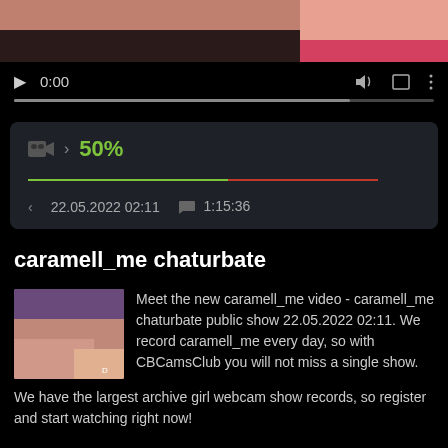[Figure (screenshot): Video thumbnail showing a partial image with skin tones and pink fabric at the top]
[Figure (screenshot): Video player controls: play button, time 0:00, volume icon, fullscreen icon, more options icon, and a progress bar]
[Figure (screenshot): Info box showing camera icon, arrow, 50% in green, a progress bar (green and red), date 22.05.2022 02:11, chat icon, duration 1:15:36]
caramell_me chaturbate
[Figure (photo): Thumbnail image of caramell_me]
Meet the new caramell_me video - caramell_me chaturbate public show 22.05.2022 02:11. We record caramell_me every day, so with CBCamsClub you will not miss a single show.
We have the largest archive girl webcam show records, so register and start watching right now!